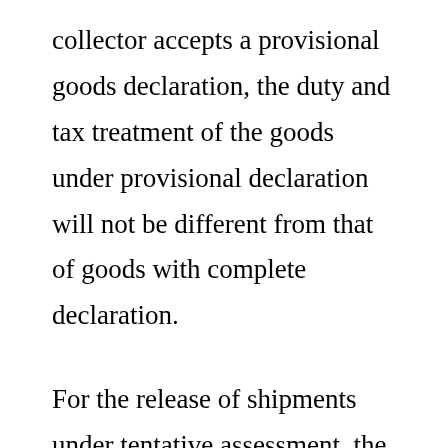collector accepts a provisional goods declaration, the duty and tax treatment of the goods under provisional declaration will not be different from that of goods with complete declaration.
For the release of shipments under tentative assessment, the importer will be required to post the required security, whether in the form of surety bond or cash bond.
Guerrero said the customs bureau has also